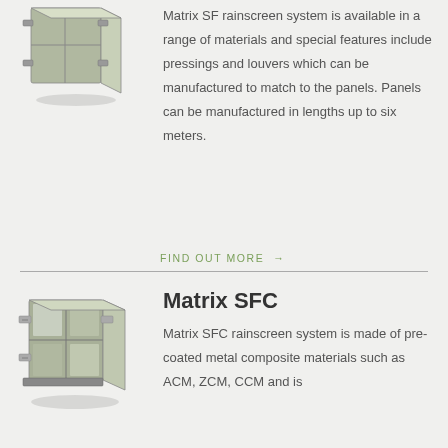[Figure (illustration): 3D rendering of Matrix SF rainscreen panel system showing metal panel assembly with visible mounting hardware]
Matrix SF rainscreen system is available in a range of materials and special features include pressings and louvers which can be manufactured to match to the panels. Panels can be manufactured in lengths up to six meters.
FIND OUT MORE →
[Figure (illustration): 3D rendering of Matrix SFC rainscreen panel system showing metal composite panel assembly with clips and mounting bracket]
Matrix SFC
Matrix SFC rainscreen system is made of pre-coated metal composite materials such as ACM, ZCM, CCM and is